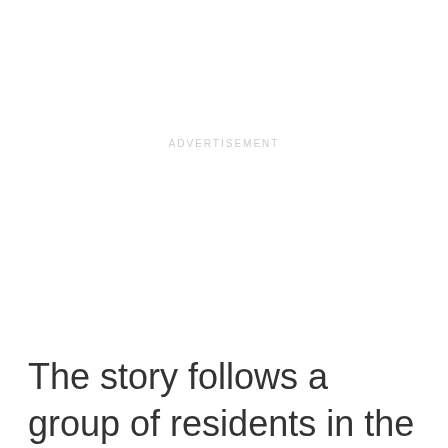ADVERTISEMENT
The story follows a group of residents in the